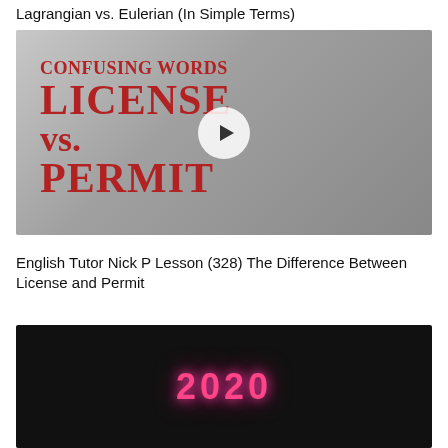Lagrangian vs. Eulerian (In Simple Terms)
[Figure (screenshot): Video thumbnail for 'Confusing Words: License vs. Permit' featuring a man pointing at text, with a play button overlay]
English Tutor Nick P Lesson (328) The Difference Between License and Permit
[Figure (screenshot): Video thumbnail with dark background showing the year '2020' in glowing pink neon text]